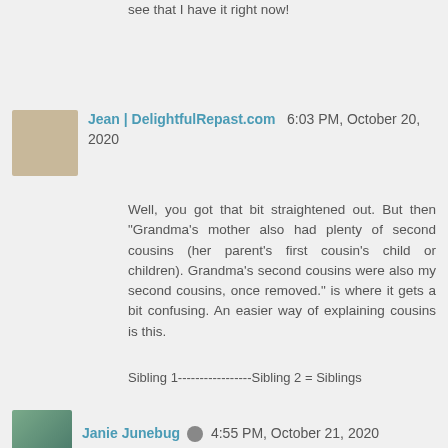see that I have it right now!
Jean | DelightfulRepast.com  6:03 PM, October 20, 2020
Well, you got that bit straightened out. But then "Grandma's mother also had plenty of second cousins (her parent's first cousin's child or children). Grandma's second cousins were also my second cousins, once removed." is where it gets a bit confusing. An easier way of explaining cousins is this.
Sibling 1-----------------Sibling 2 = Siblings
Child of Sibling 1------------Child of Sibling 2 = 1st Cousins
Grandchild of Sibling 1--Grandchild of Sibling 2 = 2nd Cousins
Great Grand of Sibling 1-Great Grand Sibling 2 = 3rd Cousins
Janie Junebug  4:55 PM, October 21, 2020